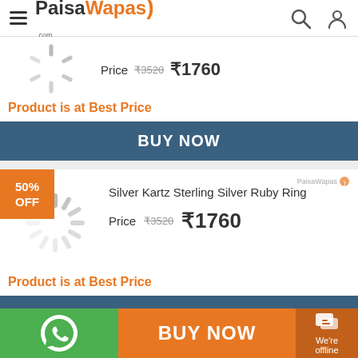PaisaWapas.com
Price  ₹3520  ₹1760
Product is at Best Price
BUY NOW
50% OFF
Silver Kartz Sterling Silver Ruby Ring
Price  ₹3520  ₹1760
Product is at Best Price
BUY NOW
BUY NOW
We're offline